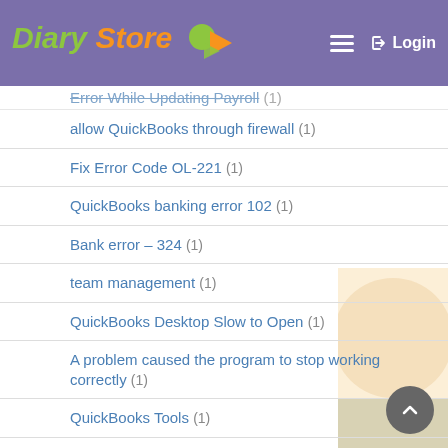Diary Store
allow QuickBooks through firewall (1)
Fix Error Code OL-221 (1)
QuickBooks banking error 102 (1)
Bank error – 324 (1)
team management (1)
QuickBooks Desktop Slow to Open (1)
A problem caused the program to stop working correctly (1)
QuickBooks Tools (1)
storage solutions dubai (1)
QuickBooks Online Page will Not Load (1)
movers dubai (6)